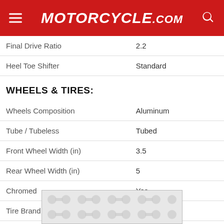Motorcycle.com
| Spec | Value |
| --- | --- |
| Final Drive Ratio | 2.2 |
| Heel Toe Shifter | Standard |
WHEELS & TIRES:
| Spec | Value |
| --- | --- |
| Wheels Composition | Aluminum |
| Tube / Tubeless | Tubed |
| Front Wheel Width (in) | 3.5 |
| Rear Wheel Width (in) | 5 |
| Chromed | Yes |
| Tire Brand | Dunlop® |
| Front Tire Width | 130 |
| Front Tire Aspect Ratio | 60 |
[Figure (other): Advertisement banner with decorative dot pattern background]